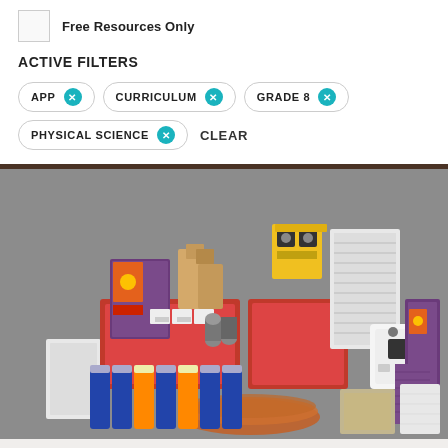Free Resources Only
ACTIVE FILTERS
APP × CURRICULUM × GRADE 8 × PHYSICAL SCIENCE × CLEAR
[Figure (photo): A collection of physical science curriculum materials including textbooks, red storage bins with supplies, flashlights, boxes, batteries, a white device, and various educational materials arranged on a gray background.]